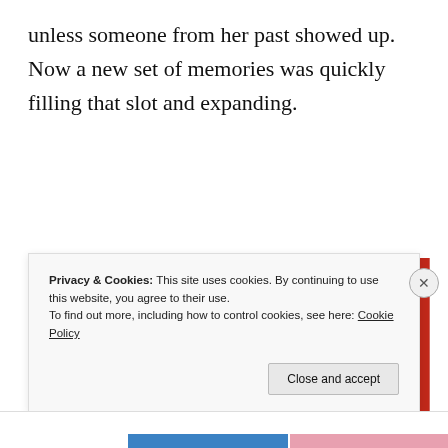unless someone from her past showed up.  Now a new set of memories was quickly filling that slot and expanding.
[Figure (other): Red advertisement banner reading 'The best stories on the web – ours, and everyone else's.' with a 'Start reading' button]
Privacy & Cookies: This site uses cookies. By continuing to use this website, you agree to their use.
To find out more, including how to control cookies, see here: Cookie Policy
Close and accept